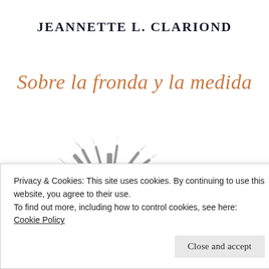JEANNETTE L. CLARIOND
Sobre la fronda y la medida
[Figure (illustration): Stylized gray bamboo or palm frond illustration — tall stalks with dramatic leaf bursts, rendered in a flat gray silhouette style on white background]
Privacy & Cookies: This site uses cookies. By continuing to use this website, you agree to their use.
To find out more, including how to control cookies, see here: Cookie Policy
Close and accept